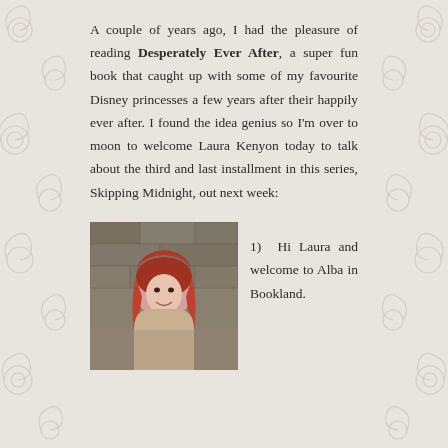A couple of years ago, I had the pleasure of reading Desperately Ever After, a super fun book that caught up with some of my favourite Disney princesses a few years after their happily ever after. I found the idea genius so I'm over to moon to welcome Laura Kenyon today to talk about the third and last installment in this series, Skipping Midnight, out next week:
[Figure (photo): A woman with long red hair smiling, photographed outdoors against a stone wall background.]
1) Hi Laura and welcome to Alba in Bookland.